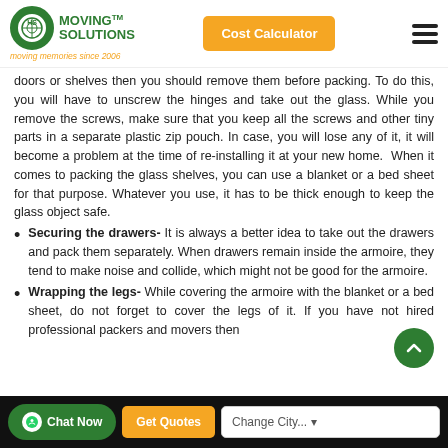Moving Solutions | Cost Calculator
doors or shelves then you should remove them before packing. To do this, you will have to unscrew the hinges and take out the glass. While you remove the screws, make sure that you keep all the screws and other tiny parts in a separate plastic zip pouch. In case, you will lose any of it, it will become a problem at the time of re-installing it at your new home.  When it comes to packing the glass shelves, you can use a blanket or a bed sheet for that purpose. Whatever you use, it has to be thick enough to keep the glass object safe.
Securing the drawers- It is always a better idea to take out the drawers and pack them separately. When drawers remain inside the armoire, they tend to make noise and collide, which might not be good for the armoire.
Wrapping the legs- While covering the armoire with the blanket or a bed sheet, do not forget to cover the legs of it. If you have not hired professional packers and movers then
Chat Now | Get Quotes | Change City...